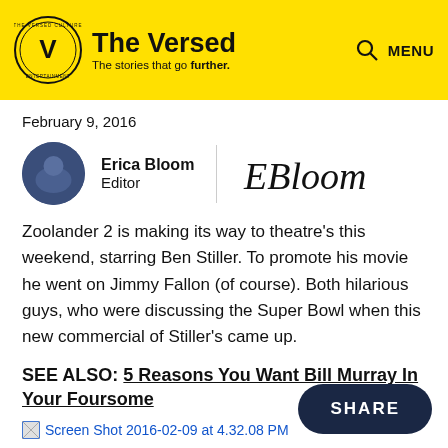The Versed — The stories that go further.
February 9, 2016
Erica Bloom
Editor
Zoolander 2 is making its way to theatre's this weekend, starring Ben Stiller. To promote his movie he went on Jimmy Fallon (of course). Both hilarious guys, who were discussing the Super Bowl when this new commercial of Stiller's came up.
SEE ALSO: 5 Reasons You Want Bill Murray In Your Foursome
[Figure (screenshot): Broken image placeholder for Screen Shot 2016-02-09 at 4.32.08 PM]